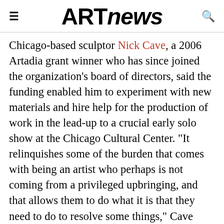ARTnews
Chicago-based sculptor Nick Cave, a 2006 Artadia grant winner who has since joined the organization's board of directors, said the funding enabled him to experiment with new materials and hire help for the production of work in the lead-up to a crucial early solo show at the Chicago Cultural Center. “It relinquishes some of the burden that comes with being an artist who perhaps is not coming from a privileged upbringing, and that allows them to do what it is that they need to do to resolve some things,” Cave said. The grant, he added, came at a critical juncture in his career and served as a “green light to keep moving forward.” Since then, Cave has shown with Mass MoCA, the Denver Art Museum, the Institute of Contemporary Art Boston, and many others. His work is in the collections of the Brooklyn Museum, the Museum of Modern Art, the Crystal Bridges Museum of American Art, the National Gallery of Canada